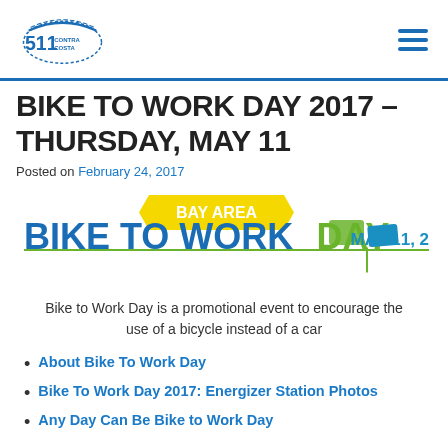511 Contra Costa
BIKE TO WORK DAY 2017 – THURSDAY, MAY 11
Posted on February 24, 2017
[Figure (logo): Bay Area Bike To Work Day May 11, 2017 logo with green and blue text and yellow banner]
Bike to Work Day is a promotional event to encourage the use of a bicycle instead of a car
About Bike To Work Day
Bike To Work Day 2017: Energizer Station Photos
Any Day Can Be Bike to Work Day